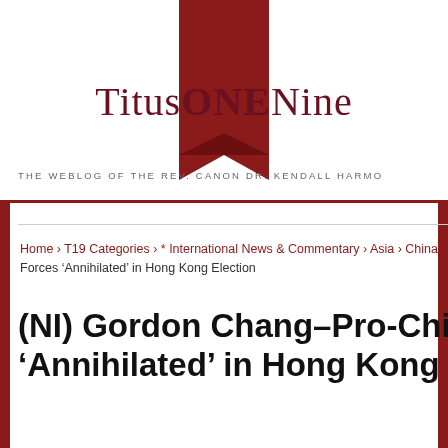[Figure (logo): TitusONENine website logo with dark red ribbon bookmark and site title text]
THE WEBLOG OF THE REV. CANON DR. KENDALL HARMON
Home › T19 Categories › * International News & Commentary › Asia › China › (NI) Gordon Chang–Pro-China Forces ‘Annihilated’ in Hong Kong Election
(NI) Gordon Chang–Pro-China Forces ‘Annihilated’ in Hong Kong Election
T19 Access
Log in
Entries feed
Comments feed
WordPress